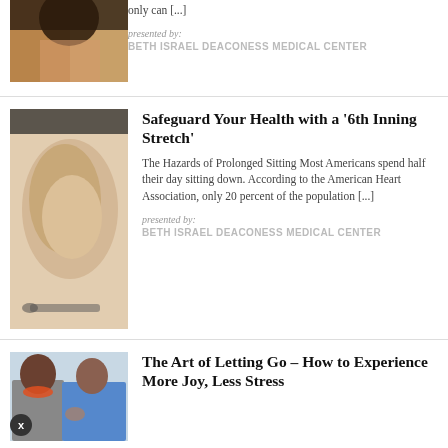[Figure (photo): Partial photo of a person, warm toned background, top article thumbnail]
only can [...]
presented by:
BETH ISRAEL DEACONESS MEDICAL CENTER
[Figure (photo): Close-up photo of a person's elbow/arm joint area]
Safeguard Your Health with a '6th Inning Stretch'
The Hazards of Prolonged Sitting Most Americans spend half their day sitting down. According to the American Heart Association, only 20 percent of the population [...]
presented by:
BETH ISRAEL DEACONESS MEDICAL CENTER
[Figure (photo): Two people sitting, one wearing orange necklace and grey shirt, other in blue top]
The Art of Letting Go – How to Experience More Joy, Less Stress